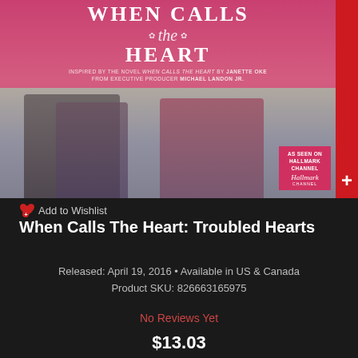[Figure (illustration): DVD/movie cover for 'When Calls The Heart: Troubled Hearts'. Pink background with title text at top, 'Troubled Hearts' in white banner, two actors in foreground, Hallmark Channel badge bottom right. Plus button on far right edge.]
Add to Wishlist
When Calls The Heart: Troubled Hearts
Released: April 19, 2016 • Available in US & Canada
Product SKU: 826663165975
No Reviews Yet
$13.03